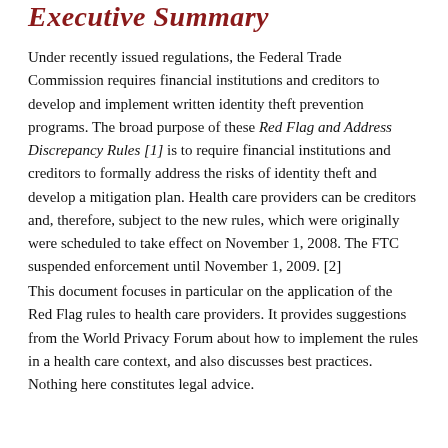Executive Summary
Under recently issued regulations, the Federal Trade Commission requires financial institutions and creditors to develop and implement written identity theft prevention programs. The broad purpose of these Red Flag and Address Discrepancy Rules [1] is to require financial institutions and creditors to formally address the risks of identity theft and develop a mitigation plan. Health care providers can be creditors and, therefore, subject to the new rules, which were originally were scheduled to take effect on November 1, 2008. The FTC suspended enforcement until November 1, 2009. [2]
This document focuses in particular on the application of the Red Flag rules to health care providers. It provides suggestions from the World Privacy Forum about how to implement the rules in a health care context, and also discusses best practices. Nothing here constitutes legal advice.